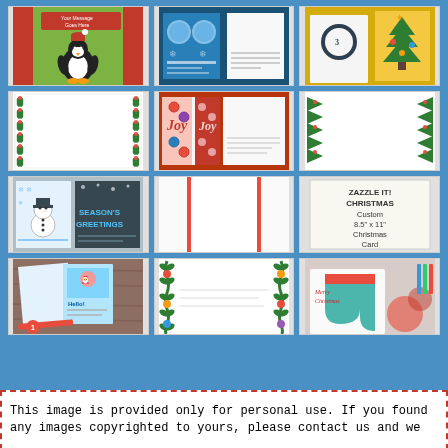[Figure (infographic): 3x4 grid of Christmas card template images including penguin card, photo card, handmade card, border cards, joy ornament card, snowman card, seasons greetings card, red stripe template, Zazzle custom card, gift photo card, garland template, and Christmas stocking card]
This image is provided only for personal use. If you found any images copyrighted to yours, please contact us and we